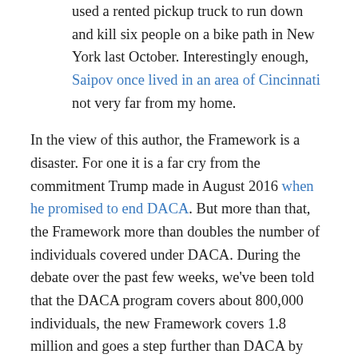used a rented pickup truck to run down and kill six people on a bike path in New York last October. Interestingly enough, Saipov once lived in an area of Cincinnati not very far from my home.
In the view of this author, the Framework is a disaster. For one it is a far cry from the commitment Trump made in August 2016 when he promised to end DACA. But more than that, the Framework more than doubles the number of individuals covered under DACA. During the debate over the past few weeks, we've been told that the DACA program covers about 800,000 individuals, the new Framework covers 1.8 million and goes a step further than DACA by providing a pathway to citizenship.
Third, the proposal is that it makes the tactical mistake of trading DACA amnesty now while providing only promises of border security in the future, promises that may never be kept.